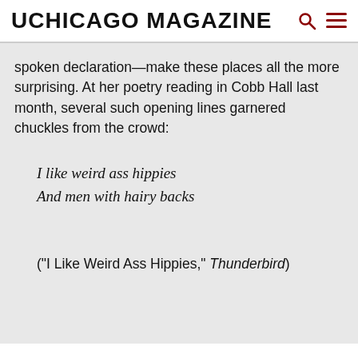UCHICAGO MAGAZINE
spoken declaration—make these places all the more surprising. At her poetry reading in Cobb Hall last month, several such opening lines garnered chuckles from the crowd:
I like weird ass hippies
And men with hairy backs
("I Like Weird Ass Hippies," Thunderbird)